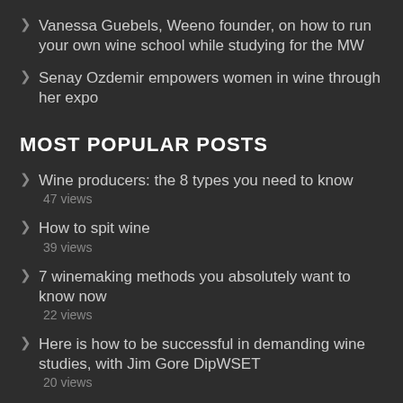Vanessa Guebels, Weeno founder, on how to run your own wine school while studying for the MW
Senay Ozdemir empowers women in wine through her expo
MOST POPULAR POSTS
Wine producers: the 8 types you need to know
47 views
How to spit wine
39 views
7 winemaking methods you absolutely want to know now
22 views
Here is how to be successful in demanding wine studies, with Jim Gore DipWSET
20 views
Vine growth cycle: How to finally get it (quick and easy)
17 views